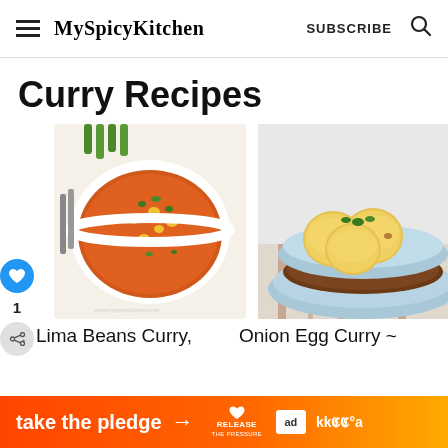MySpicyKitchen  SUBSCRIBE
Curry Recipes
[Figure (photo): Bowl of Lima Beans Curry with orange-red tomato sauce, corn, garnished with cilantro, with spoons and green chillies in background]
[Figure (photo): Bowl of Onion Egg Curry with golden fried eggs in brown onion sauce, garnished with herbs, in a light blue bowl]
Lima Beans Curry,
Onion Egg Curry ~
take the pledge →